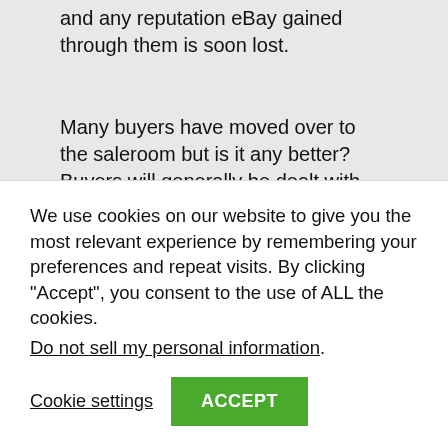and any reputation eBay gained through them is soon lost.
Many buyers have moved over to the saleroom but is it any better? Buyers will generally be dealt with more professionally as they are dealing with genuine established businesses. But information per lot is very sparse with limited imagery and descriptions, many auction lots have an element of having a punt about them. The additional buyer’s premium added makes them eye-watering.
Let’s not forget that higher buyers premiums have a direct
We use cookies on our website to give you the most relevant experience by remembering your preferences and repeat visits. By clicking “Accept”, you consent to the use of ALL the cookies.
Do not sell my personal information.
Cookie settings
ACCEPT